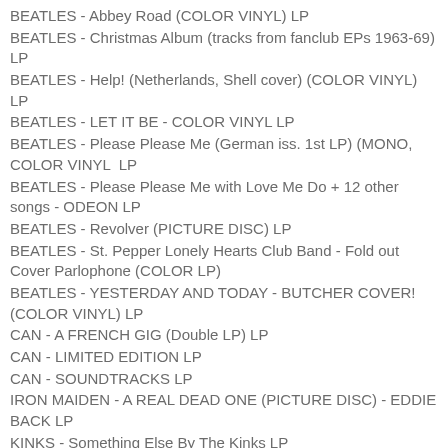BEATLES - Abbey Road (COLOR VINYL) LP
BEATLES - Christmas Album (tracks from fanclub EPs 1963-69) LP
BEATLES - Help! (Netherlands, Shell cover) (COLOR VINYL) LP
BEATLES - LET IT BE - COLOR VINYL LP
BEATLES - Please Please Me (German iss. 1st LP) (MONO, COLOR VINYL  LP
BEATLES - Please Please Me with Love Me Do + 12 other songs - ODEON LP
BEATLES - Revolver (PICTURE DISC) LP
BEATLES - St. Pepper Lonely Hearts Club Band - Fold out Cover Parlophone (COLOR LP)
BEATLES - YESTERDAY AND TODAY - BUTCHER COVER! (COLOR VINYL) LP
CAN - A FRENCH GIG (Double LP) LP
CAN - LIMITED EDITION LP
CAN - SOUNDTRACKS LP
IRON MAIDEN - A REAL DEAD ONE (PICTURE DISC) - EDDIE BACK LP
KINKS - Something Else By The Kinks LP
LED ZEPPELIN - I - Estero (= First) -SPAIN (COLOR VINYL)